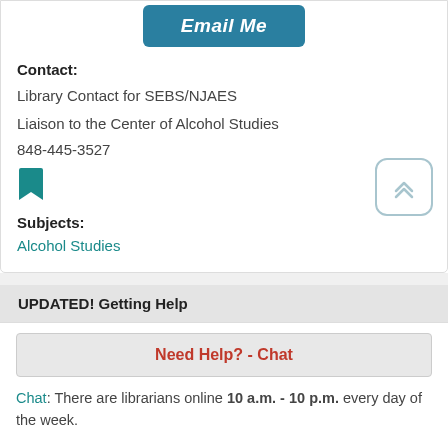[Figure (other): Email Me button - teal/blue rounded rectangle button with bold italic white text]
Contact:
Library Contact for SEBS/NJAES
Liaison to the Center of Alcohol Studies
848-445-3527
[Figure (other): Teal bookmark icon]
Subjects:
Alcohol Studies
UPDATED! Getting Help
[Figure (other): Need Help? - Chat button, red bold text on light gray background]
Chat: There are librarians online 10 a.m. - 10 p.m. every day of the week.